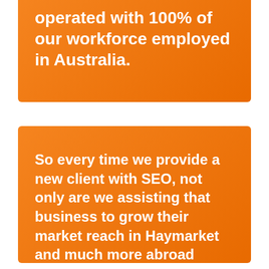operated with 100% of our workforce employed in Australia.
So every time we provide a new client with SEO, not only are we assisting that business to grow their market reach in Haymarket and much more abroad while increasing revenue, but we have opportunity to employ more local Aussies.